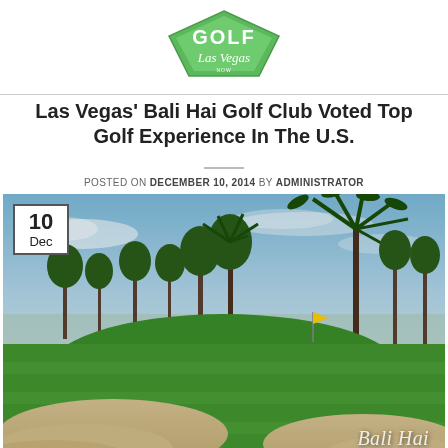[Figure (logo): Golf Las Vegas Now logo - green diamond/shield shape with GOLF text and Las Vegas script below]
Las Vegas' Bali Hai Golf Club Voted Top Golf Experience In The U.S.
POSTED ON DECEMBER 10, 2014 BY ADMINISTRATOR
[Figure (photo): Bali Hai Golf Club course photo showing lush green fairways with sand bunkers in foreground, tall palm trees, blue sky with clouds. 'Bali Hai' watermark text in bottom right corner. Date badge overlay showing '10 Dec' in top left.]